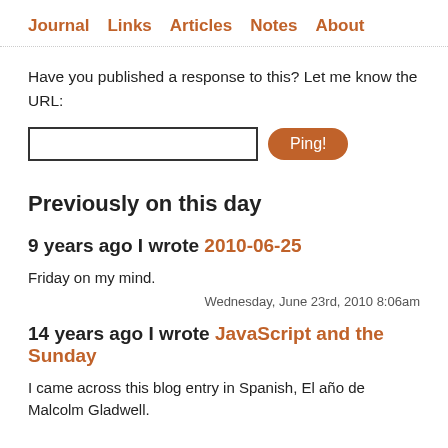Journal  Links  Articles  Notes  About
Have you published a response to this? Let me know the URL:
Previously on this day
9 years ago I wrote 2010-06-25
Friday on my mind.
Wednesday, June 23rd, 2010 8:06am
14 years ago I wrote JavaScript and the Sunday
I came across this blog entry in Spanish, El año de Malcolm Gladwell.